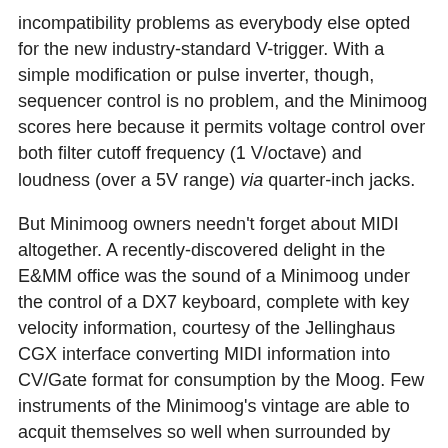incompatibility problems as everybody else opted for the new industry-standard V-trigger. With a simple modification or pulse inverter, though, sequencer control is no problem, and the Minimoog scores here because it permits voltage control over both filter cutoff frequency (1 V/octave) and loudness (over a 5V range) via quarter-inch jacks.
But Minimoog owners needn't forget about MIDI altogether. A recently-discovered delight in the E&MM office was the sound of a Minimoog under the control of a DX7 keyboard, complete with key velocity information, courtesy of the Jellinghaus CGX interface converting MIDI information into CV/Gate format for consumption by the Moog. Few instruments of the Minimoog's vintage are able to acquit themselves so well when surrounded by technology of an altogether different era...
The Minimoog, like all commercial success stories, proved to be an influential product. Its layout, and particularly the configuration and positioning of the pitchbend and modulation wheels, set a standard that has been widely adopted by...